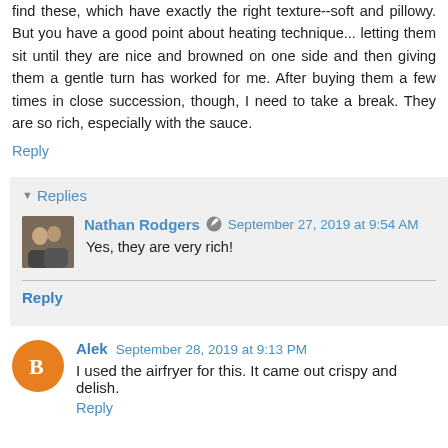find these, which have exactly the right texture--soft and pillowy. But you have a good point about heating technique... letting them sit until they are nice and browned on one side and then giving them a gentle turn has worked for me. After buying them a few times in close succession, though, I need to take a break. They are so rich, especially with the sauce.
Reply
Replies
Nathan Rodgers  September 27, 2019 at 9:54 AM
Yes, they are very rich!
Reply
Alek  September 28, 2019 at 9:13 PM
I used the airfryer for this. It came out crispy and delish.
Reply